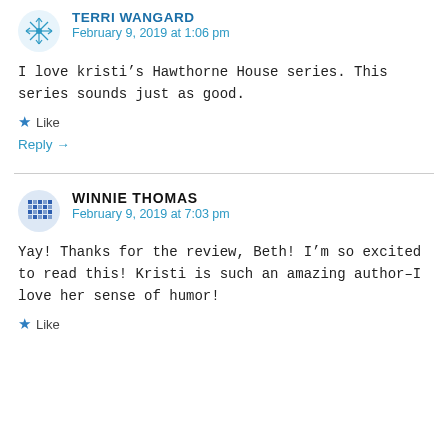TERRI WANGARD
February 9, 2019 at 1:06 pm
I love kristi’s Hawthorne House series. This series sounds just as good.
★ Like
Reply →
WINNIE THOMAS
February 9, 2019 at 7:03 pm
Yay! Thanks for the review, Beth! I’m so excited to read this! Kristi is such an amazing author–I love her sense of humor!
★ Like